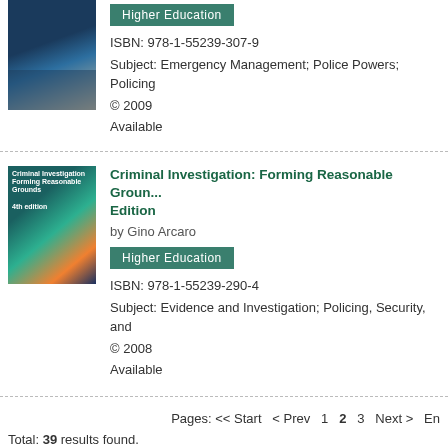[Figure (photo): Book cover for first title, dark tones with people]
Higher Education
ISBN: 978-1-55239-307-9
Subject: Emergency Management; Police Powers; Policing
© 2009
Available
[Figure (photo): Book cover for Criminal Investigation: Forming Reasonable Grounds, 4th Edition]
Criminal Investigation: Forming Reasonable Grounds Edition
by Gino Arcaro
Higher Education
ISBN: 978-1-55239-290-4
Subject: Evidence and Investigation; Policing, Security, and
© 2008
Available
Pages: << Start  < Prev  1  2  3  Next >  En
Total: 39 results found.